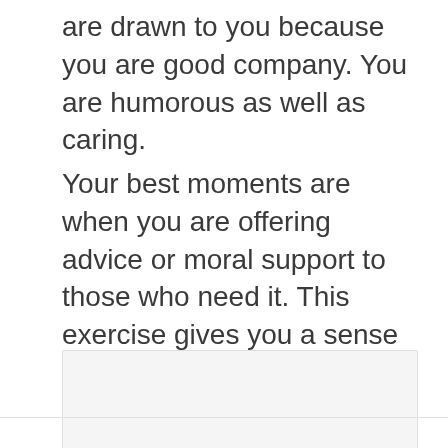are drawn to you because you are good company. You are humorous as well as caring.
Your best moments are when you are offering advice or moral support to those who need it. This exercise gives you a sense of fulfillment and contentment.
[Figure (other): Empty light gray box/placeholder rectangle]